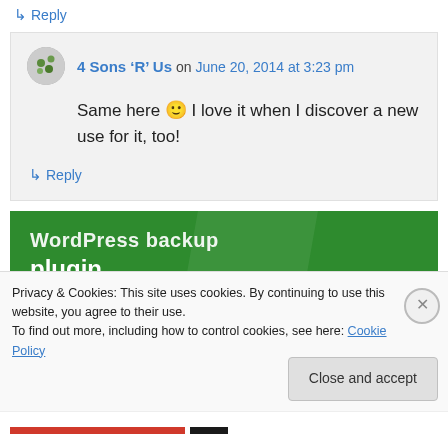↳ Reply
4 Sons 'R' Us on June 20, 2014 at 3:23 pm
Same here 🙂 I love it when I discover a new use for it, too!
↳ Reply
[Figure (other): Green banner with text 'WordPress backup plugin']
Privacy & Cookies: This site uses cookies. By continuing to use this website, you agree to their use. To find out more, including how to control cookies, see here: Cookie Policy
Close and accept